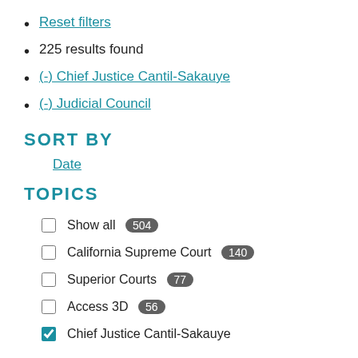Reset filters
225 results found
(-) Chief Justice Cantil-Sakauye
(-) Judicial Council
SORT BY
Date
TOPICS
Show all 504
California Supreme Court 140
Superior Courts 77
Access 3D 56
Chief Justice Cantil-Sakauye